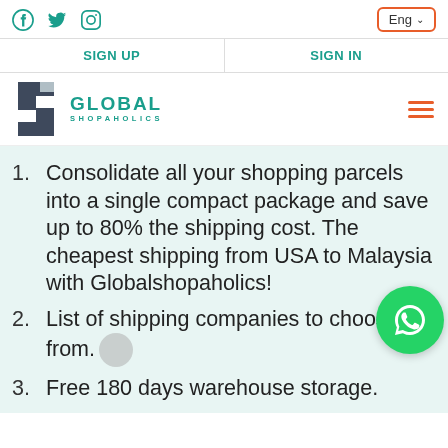Social icons (Facebook, Twitter, Instagram) and language selector (Eng)
SIGN UP | SIGN IN
[Figure (logo): Global Shopaholics logo with stylized S icon and teal text]
Consolidate all your shopping parcels into a single compact package and save up to 80% the shipping cost. The cheapest shipping from USA to Malaysia with Globalshopaholics!
List of shipping companies to choose from.
Free 180 days warehouse storage.